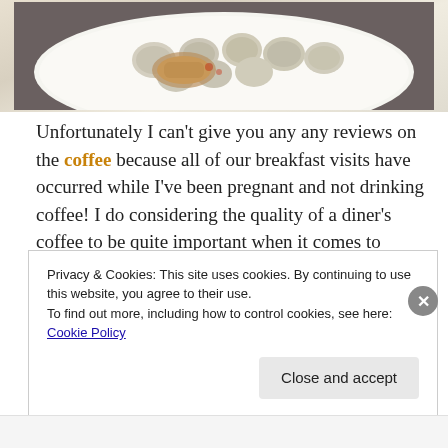[Figure (photo): Photo of a plate of food — dumplings or meatballs with a piece of grilled or fried meat on a white plate, viewed from above.]
Unfortunately I can't give you any any reviews on the coffee because all of our breakfast visits have occurred while I've been pregnant and not drinking coffee! I do considering the quality of a diner's coffee to be quite important when it comes to reviewing them, so I look forward to checking out the java the future, after our little guy is born. (Did I tell you guys It's A Boy yet!? We're geeked!)
Privacy & Cookies: This site uses cookies. By continuing to use this website, you agree to their use.
To find out more, including how to control cookies, see here: Cookie Policy
Close and accept